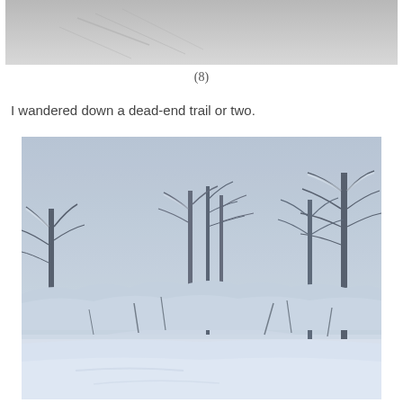[Figure (photo): Top portion of a photo, appears to be a light grey/white surface with faint diagonal marks, possibly snow or paper texture.]
(8)
I wandered down a dead-end trail or two.
[Figure (photo): Winter landscape photograph showing bare snow-covered trees and shrubs in a misty, overcast setting with a snow-covered field in the foreground.]